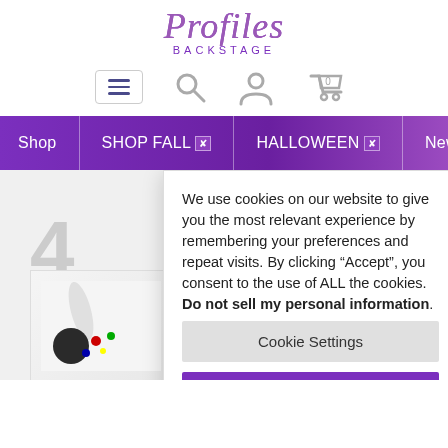[Figure (logo): Profiles Backstage logo with stylized italic script text and subtitle]
[Figure (infographic): Navigation icon row with hamburger menu, search, user, and cart (0) icons]
[Figure (infographic): Purple navigation bar with menu items: Shop, SHOP FALL, HALLOWEEN, New Arrivals]
We use cookies on our website to give you the most relevant experience by remembering your preferences and repeat visits. By clicking “Accept”, you consent to the use of ALL the cookies. Do not sell my personal information.
Cookie Settings
Accept